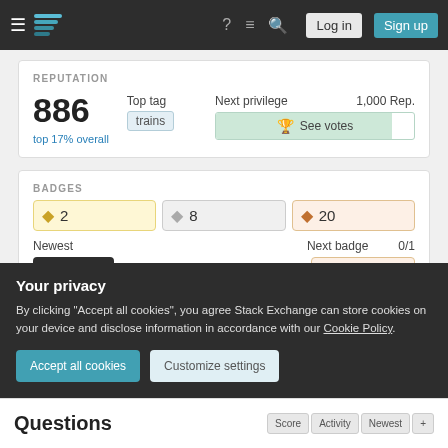Navigation bar with hamburger menu, Stack Exchange logo, help, chat, search icons, Log in and Sign up buttons
REPUTATION
886
top 17% overall
Top tag
trains
Next privilege    1,000 Rep.
🏆 See votes
BADGES
2
8
20
Newest
Yearling
Next badge    0/1
Custodian
Your privacy
By clicking "Accept all cookies", you agree Stack Exchange can store cookies on your device and disclose information in accordance with our Cookie Policy.
Accept all cookies
Customize settings
Questions